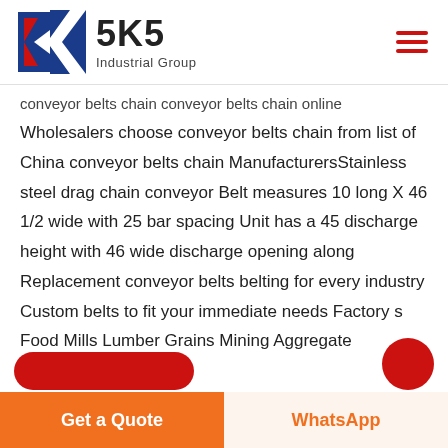[Figure (logo): SKS Industrial Group logo with red and blue K lettermark and bold SKS brand name]
conveyor belts chain conveyor belts chain online
Wholesalers choose conveyor belts chain from list of China conveyor belts chain ManufacturersStainless steel drag chain conveyor Belt measures 10 long X 46 1/2 wide with 25 bar spacing Unit has a 45 discharge height with 46 wide discharge opening along Replacement conveyor belts belting for every industry Custom belts to fit your immediate needs Factory s Food Mills Lumber Grains Mining Aggregate
Get a Quote
WhatsApp